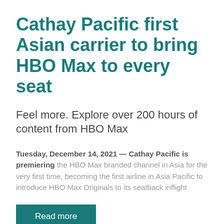Cathay Pacific first Asian carrier to bring HBO Max to every seat
Feel more. Explore over 200 hours of content from HBO Max
Tuesday, December 14, 2021 — Cathay Pacific is premiering the HBO Max branded channel in Asia for the very first time, becoming the first airline in Asia Pacific to introduce HBO Max Originals to its seatback inflight
Read more